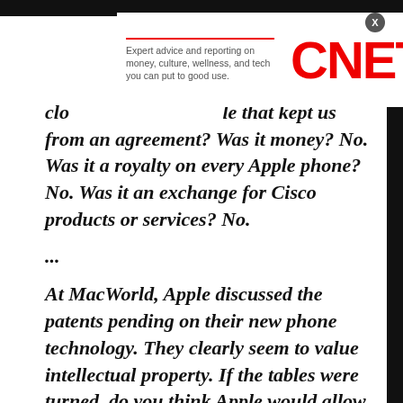[Figure (screenshot): CNET advertisement banner with tagline 'Expert advice and reporting on money, culture, wellness, and tech you can put to good use.' and CNET logo in red]
clo...le that kept us from an agreement? Was it money? No. Was it a royalty on every Apple phone? No. Was it an exchange for Cisco products or services? No.
...
At MacWorld, Apple discussed the patents pending on their new phone technology. They clearly seem to value intellectual property. If the tables were turned, do you think Apple would allow someone to blatantly infringe on their rights? How would Apple react if someone launched a product called iPod but